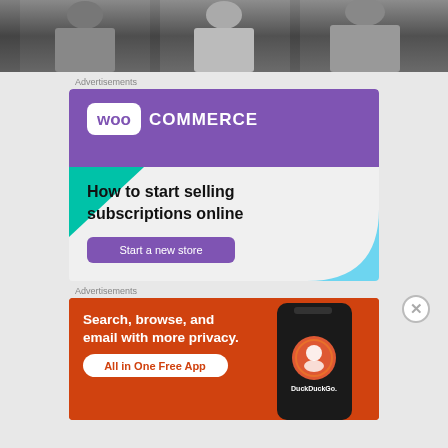[Figure (photo): Black and white photo strip showing partial torsos of people wearing light-colored clothing]
Advertisements
[Figure (illustration): WooCommerce advertisement: purple banner with WooCommerce logo, green triangle and blue quarter-circle decorative elements, headline 'How to start selling subscriptions online', and a 'Start a new store' purple button]
Advertisements
[Figure (illustration): DuckDuckGo advertisement on orange/red background: 'Search, browse, and email with more privacy. All in One Free App' with DuckDuckGo branding and phone mockup on right side]